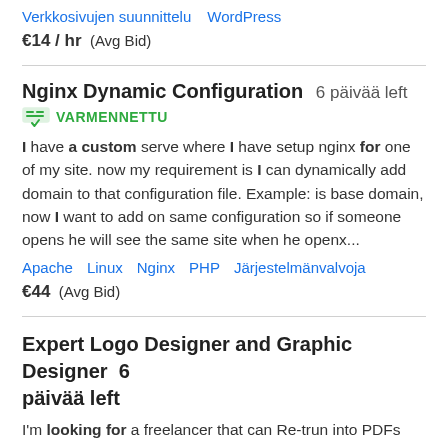Verkkosivujen suunnittelu   WordPress
€14 / hr   (Avg Bid)
Nginx Dynamic Configuration   6 päivää left
VARMENNETTU
I have a custom serve where I have setup nginx for one of my site. now my requirement is I can dynamically add domain to that configuration file. Example: is base domain, now I want to add on same configuration so if someone opens he will see the same site when he openx...
Apache   Linux   Nginx   PHP   Järjestelmänvalvoja
€44   (Avg Bid)
Expert Logo Designer and Graphic Designer   6 päivää left
I'm looking for a freelancer that can Re-trun into PDFs files...